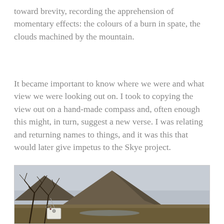toward brevity, recording the apprehension of momentary effects: the colours of a burn in spate, the clouds machined by the mountain.
It became important to know where we were and what view we were looking out on. I took to copying the view out on a hand-made compass and, often enough this might, in turn, suggest a new verse. I was relating and returning names to things, and it was this that would later give impetus to the Skye project.
[Figure (photo): Outdoor landscape photograph showing a triangular mountain peak under overcast cloudy sky, with bare dead tree branches in the foreground and a handmade compass tag hanging from the branches, moorland and hills in the middle distance.]